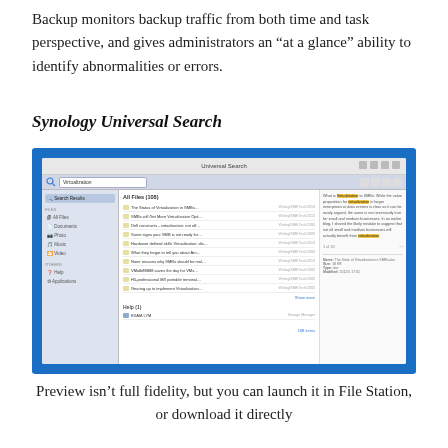Backup monitors backup traffic from both time and task perspective, and gives administrators an “at a glance” ability to identify abnormalities or errors.
Synology Universal Search
[Figure (screenshot): Screenshot of Synology Universal Search application window showing search results for 'Virtualization' with file list in the center panel and a preview pane on the right showing highlighted text.]
Preview isn’t full fidelity, but you can launch it in File Station, or download it directly